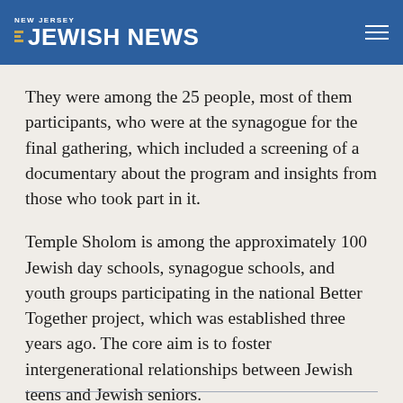NEW JERSEY JEWISH NEWS
They were among the 25 people, most of them participants, who were at the synagogue for the final gathering, which included a screening of a documentary about the program and insights from those who took part in it.
Temple Sholom is among the approximately 100 Jewish day schools, synagogue schools, and youth groups participating in the national Better Together project, which was established three years ago. The core aim is to foster intergenerational relationships between Jewish teens and Jewish seniors.